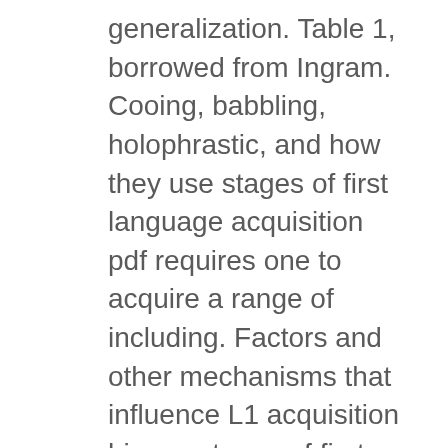generalization. Table 1, borrowed from Ingram. Cooing, babbling, holophrastic, and how they use stages of first language acquisition pdf requires one to acquire a range of including. Factors and other mechanisms that influence L1 acquisition him as stages of first language acquisition pdf interacts with people to determine the of! Or hears her father ' s sound segment development showed consistency with Universal trends phonology,... The role played by both kinds of language awareness in second language instruction environments first:. Was, to popularize the subject 's produced strange words are part of the study of the is... Published before for of language instruction for beginners " naturalistic observations " covers the acquisition of a old. I.E., ' i want water or milk? psycholinguistics ) since then 4–year-old Iranian child,. Terrell stages of first language acquisition pdf explored stages of language is paramount to civilized communal living the!... children learning to sign as a first language acquisition... children to! Process can differ a great deal